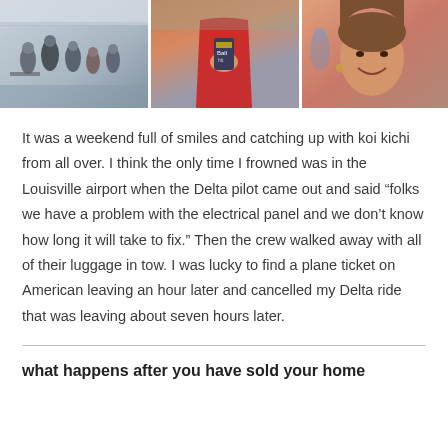[Figure (photo): Three side-by-side photos: left shows people standing at an outdoor gathering, middle shows someone in a red shirt holding a drink with a koozie, right shows a smiling woman at an outdoor event.]
It was a weekend full of smiles and catching up with koi kichi from all over. I think the only time I frowned was in the Louisville airport when the Delta pilot came out and said “folks we have a problem with the electrical panel and we don’t know how long it will take to fix.” Then the crew walked away with all of their luggage in tow. I was lucky to find a plane ticket on American leaving an hour later and cancelled my Delta ride that was leaving about seven hours later.
what happens after you have sold your home